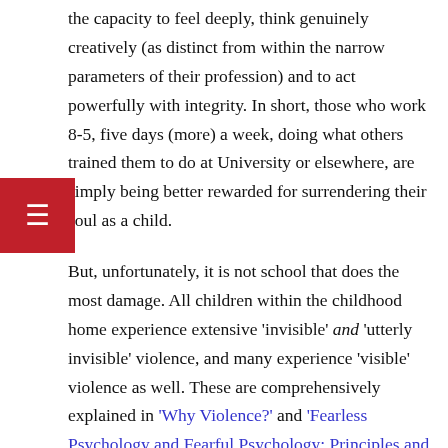the capacity to feel deeply, think genuinely creatively (as distinct from within the narrow parameters of their profession) and to act powerfully with integrity. In short, those who work 8-5, five days (more) a week, doing what others trained them to do at University or elsewhere, are simply being better rewarded for surrendering their soul as a child.
But, unfortunately, it is not school that does the most damage. All children within the childhood home experience extensive 'invisible' and 'utterly invisible' violence, and many experience 'visible' violence as well. These are comprehensively explained in 'Why Violence?' and 'Fearless Psychology and Fearful Psychology: Principles and Practice'.
The inevitable outcome of this violence is that the child